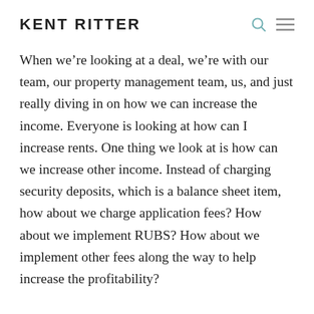KENT RITTER
When we’re looking at a deal, we’re with our team, our property management team, us, and just really diving in on how we can increase the income. Everyone is looking at how can I increase rents. One thing we look at is how can we increase other income. Instead of charging security deposits, which is a balance sheet item, how about we charge application fees? How about we implement RUBS? How about we implement other fees along the way to help increase the profitability?